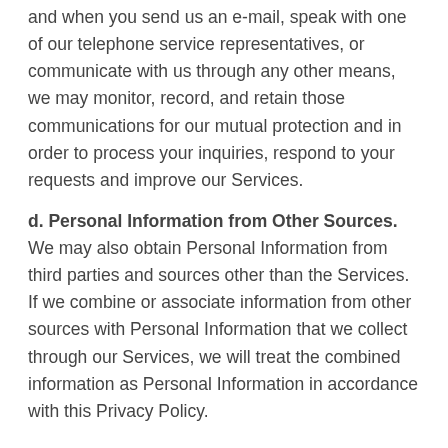and when you send us an e-mail, speak with one of our telephone service representatives, or communicate with us through any other means, we may monitor, record, and retain those communications for our mutual protection and in order to process your inquiries, respond to your requests and improve our Services.
d. Personal Information from Other Sources. We may also obtain Personal Information from third parties and sources other than the Services. If we combine or associate information from other sources with Personal Information that we collect through our Services, we will treat the combined information as Personal Information in accordance with this Privacy Policy.
2. How and Why Your Personal Information is Used.
a. To Serve you. We use the Personal Information that you provide or that we collect for legal and regulatory